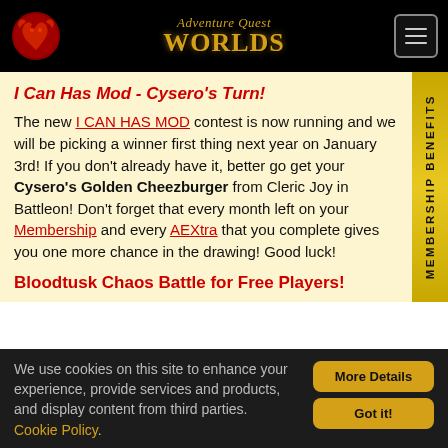AdventureQuest Worlds
I Can Has Mod - Cysero's Turn!
The new I CAN HAS MOD contest is now running and we will be picking a winner first thing next year on January 3rd! If you don't already have it, better go get your Cysero's Golden Cheezburger from Cleric Joy in Battleon! Don't forget that every month left on your Membership and every AEXtra that you complete gives you one more chance in the drawing! Good luck!
Bloodtusk Chaos Battle for Free Players!
Now open to ALL players, watch as Bloodtusk's Chaos Lord faces Drakath head on and tries to take him down!
We use cookies on this site to enhance your experience, provide services and products, and display content from third parties. Cookie Policy.